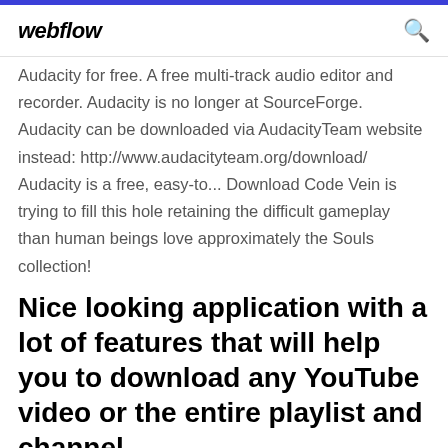webflow
Audacity for free. A free multi-track audio editor and recorder. Audacity is no longer at SourceForge. Audacity can be downloaded via AudacityTeam website instead: http://www.audacityteam.org/download/ Audacity is a free, easy-to... Download Code Vein is trying to fill this hole retaining the difficult gameplay than human beings love approximately the Souls collection!
Nice looking application with a lot of features that will help you to download any YouTube video or the entire playlist and channel.